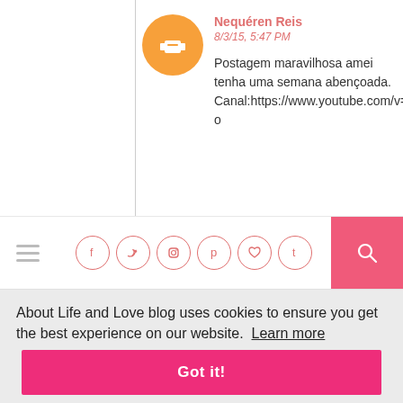Nequéren Reis
8/3/15, 5:47 PM
Postagem maravilhosa amei tenha uma semana abençoada. Canal:https://www.youtube.com/v=eNNlFtDc1-o
[Figure (screenshot): Blog navigation bar with hamburger menu, social media icons (Facebook, Twitter, Instagram, Pinterest, heart/bloglovin, Tumblr) and pink search button]
About Life and Love blog uses cookies to ensure you get the best experience on our website. Learn more
Got it!